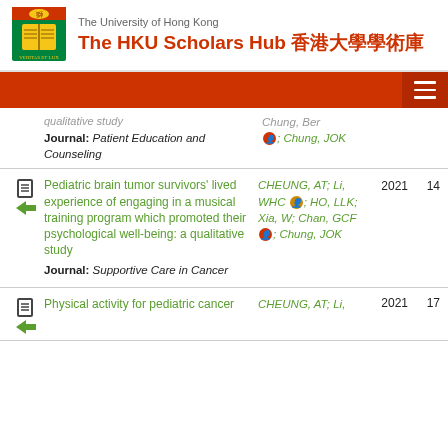The University of Hong Kong — The HKU Scholars Hub 香港大學學術庫
Journal: Patient Education and Counseling | Authors: (partial) ; Chung, JOK
Pediatric brain tumor survivors' lived experience of engaging in a musical training program which promoted their psychological well-being: a qualitative study | Journal: Supportive Care in Cancer | Authors: CHEUNG, AT; Li, WHC; HO, LLK; Xia, W; Chan, GCF; Chung, JOK | Year: 2021 | Cited: 14
Physical activity for pediatric cancer | Authors: CHEUNG, AT; Li, | Year: 2021 | Cited: 17